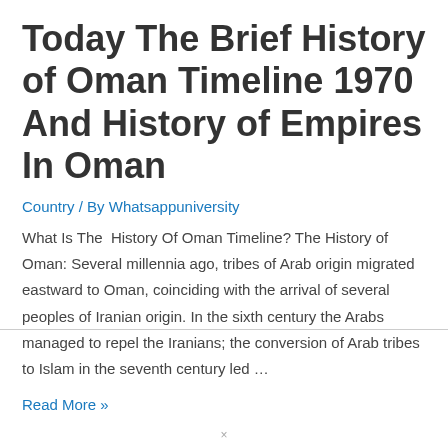Today The Brief History of Oman Timeline 1970 And History of Empires In Oman
Country / By Whatsappuniversity
What Is The  History Of Oman Timeline? The History of Oman: Several millennia ago, tribes of Arab origin migrated eastward to Oman, coinciding with the arrival of several peoples of Iranian origin. In the sixth century the Arabs managed to repel the Iranians; the conversion of Arab tribes to Islam in the seventh century led …
Read More »